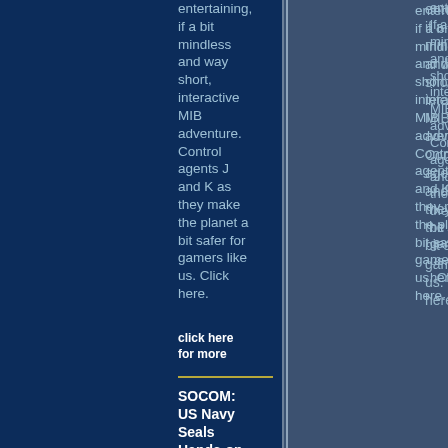entertaining, if a bit mindless and way short, interactive MIB adventure. Control agents J and K as they make the planet a bit safer for gamers like us. Click here.
click here for more
SOCOM: US Navy Seals Hands-on Preview